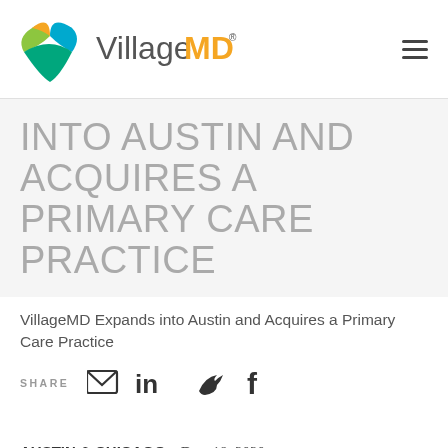[Figure (logo): VillageMD logo with colorful leaf/triangle icon and VillageMD text in gray and yellow]
INTO AUSTIN AND ACQUIRES A PRIMARY CARE PRACTICE
VillageMD Expands into Austin and Acquires a Primary Care Practice
SHARE
AUSTIN & CHICAGO – Dec. 18, 2020 –